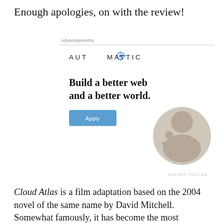Enough apologies, on with the review!
[Figure (other): Automattic advertisement banner with headline 'Build a better web and a better world.' and an Apply button, alongside a circular photo of a man thinking.]
Cloud Atlas is a film adaptation based on the 2004 novel of the same name by David Mitchell. Somewhat famously, it has become the most expensive independent film to ever be released, having been produced for nearly $100